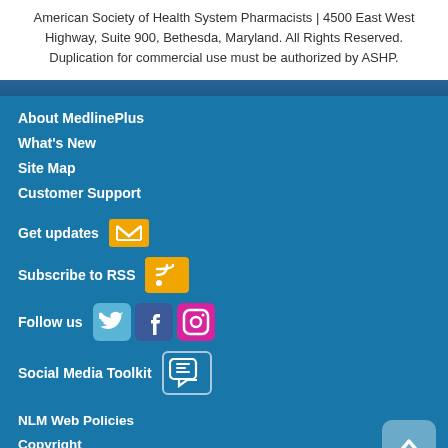American Society of Health System Pharmacists | 4500 East West Highway, Suite 900, Bethesda, Maryland. All Rights Reserved. Duplication for commercial use must be authorized by ASHP.
About MedlinePlus
What's New
Site Map
Customer Support
Get updates
Subscribe to RSS
Follow us
Social Media Toolkit
NLM Web Policies
Copyright
Accessibility